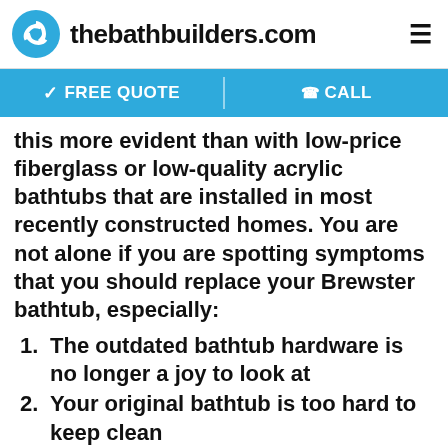thebathbuilders.com
✓ FREE QUOTE   📞CALL
this more evident than with low-price fiberglass or low-quality acrylic bathtubs that are installed in most recently constructed homes. You are not alone if you are spotting symptoms that you should replace your Brewster bathtub, especially:
1. The outdated bathtub hardware is no longer a joy to look at
2. Your original bathtub is too hard to keep clean
3. You hope to liven up your bathroom and get guests and neighbors fawning over your